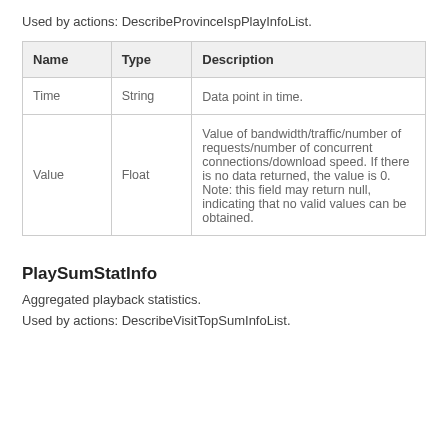Used by actions: DescribeProvinceIspPlayInfoList.
| Name | Type | Description |
| --- | --- | --- |
| Time | String | Data point in time. |
| Value | Float | Value of bandwidth/traffic/number of requests/number of concurrent connections/download speed. If there is no data returned, the value is 0. Note: this field may return null, indicating that no valid values can be obtained. |
PlaySumStatInfo
Aggregated playback statistics.
Used by actions: DescribeVisitTopSumInfoList.